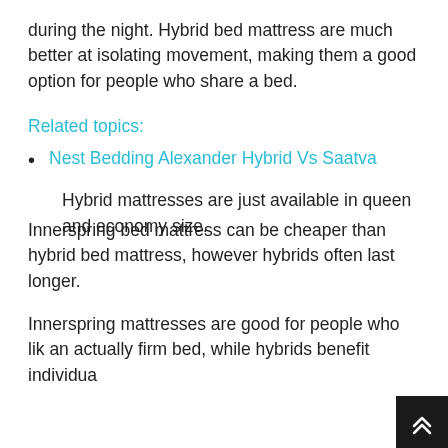during the night. Hybrid bed mattress are much better at isolating movement, making them a good option for people who share a bed.
Related topics:
Nest Bedding Alexander Hybrid Vs Saatva
Hybrid mattresses are just available in queen and economy size.
Innerspring bed mattress can be cheaper than hybrid bed mattress, however hybrids often last longer.
Innerspring mattresses are good for people who like an actually firm bed, while hybrids benefit individua…